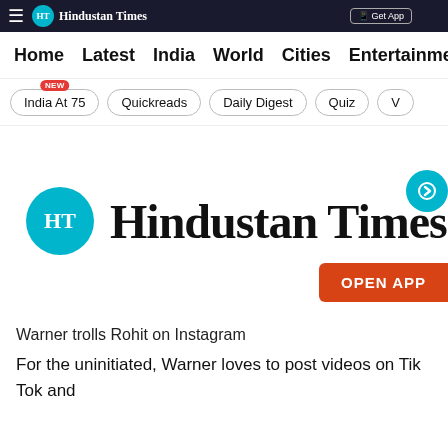Hindustan Times
Home | Latest | India | World | Cities | Entertainment
India At 75 (NEW) | Quickreads | Daily Digest | Quiz | V
[Figure (logo): Hindustan Times logo with teal HT circle and blackletter Hindustan Times text, with OPEN APP button]
Warner trolls Rohit on Instagram
For the uninitiated, Warner loves to post videos on Tik Tok and